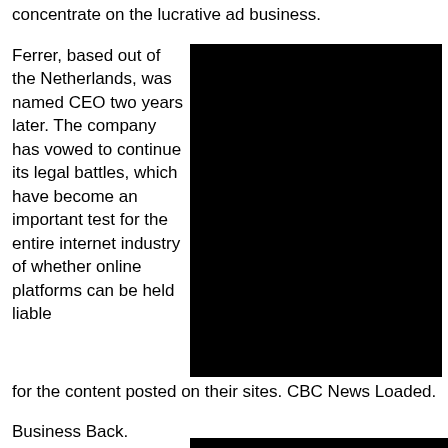concentrate on the lucrative ad business.
Ferrer, based out of the Netherlands, was named CEO two years later. The company has vowed to continue its legal battles, which have become an important test for the entire internet industry of whether online platforms can be held liable for the content posted on their sites. CBC News Loaded.
[Figure (photo): Large black image/photo block]
Business Back.